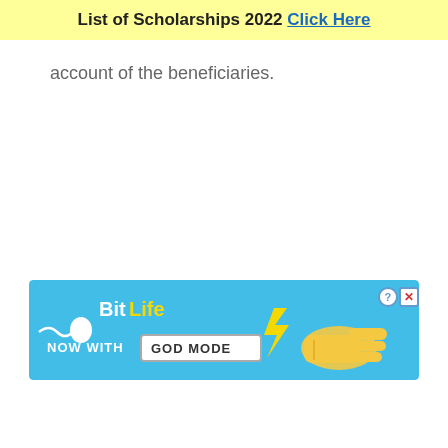List of Scholarships 2022 Click Here
account of the beneficiaries.
[Figure (infographic): BitLife mobile game advertisement banner. Light blue background. Shows BitLife logo with sperm mascot icon, text 'NOW WITH GOD MODE', a cartoon pointing hand, and a close/help button in top right corner.]